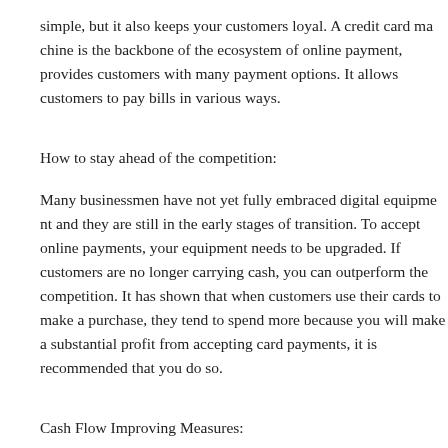simple, but it also keeps your customers loyal. A credit card machine is the backbone of the ecosystem of online payment, provides customers with many payment options. It allows customers to pay bills in various ways.
How to stay ahead of the competition:
Many businessmen have not yet fully embraced digital equipment and they are still in the early stages of transition. To accept online payments, your equipment needs to be upgraded. If customers are no longer carrying cash, you can outperform the competition. It has shown that when customers use their cards to make a purchase, they tend to spend more because you will make a substantial profit from accepting card payments, it is recommended that you do so.
Cash Flow Improving Measures:
The customers' card payments get settled quickly when they pay electronically, so you don't have to go to the bank to deposit the cash and you don't have to wait for customers to pay you. Your cash flow will thus